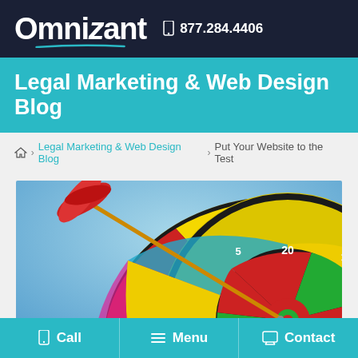Omnizant  877.284.4406
Legal Marketing & Web Design Blog
Home > Legal Marketing & Web Design Blog > Put Your Website to the Test
[Figure (photo): Close-up photo of a red dart stuck in a colorful dart board against a blue sky background]
Call   Menu   Contact